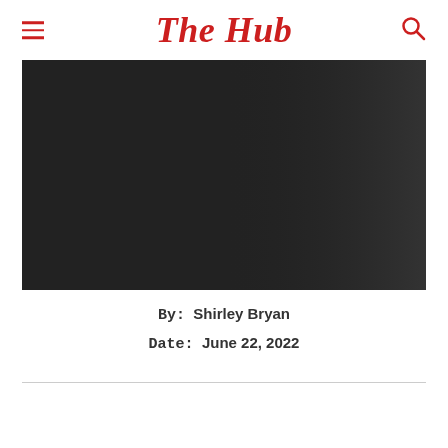The Hub
[Figure (photo): Dark/greyscale background image with bold white text overlay: 'be joined by Shahrukh Khan.: Most Awaited Man vs Wild Episode!']
By:  Shirley Bryan
Date:  June 22, 2022